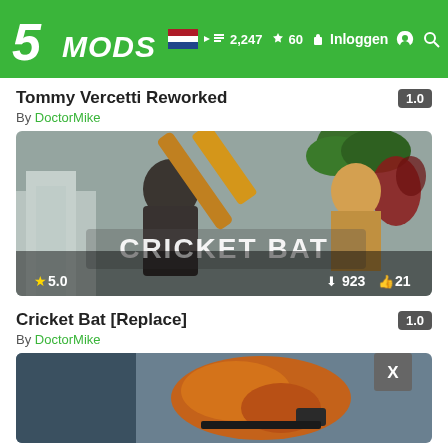5MODS | Inloggen | 2,247 | 60
Tommy Vercetti Reworked 1.0
By DoctorMike
[Figure (screenshot): Cricket Bat mod screenshot showing a character swinging a large wooden cricket bat at another character in a GTA-style game environment. Text overlay reads CRICKET BAT. Stats: 5.0 star rating, 923 downloads, 21 likes.]
Cricket Bat [Replace] 1.0
By DoctorMike
[Figure (screenshot): Partial screenshot of another mod card showing an orange-gloved hand with an X close button overlay in the top right corner.]